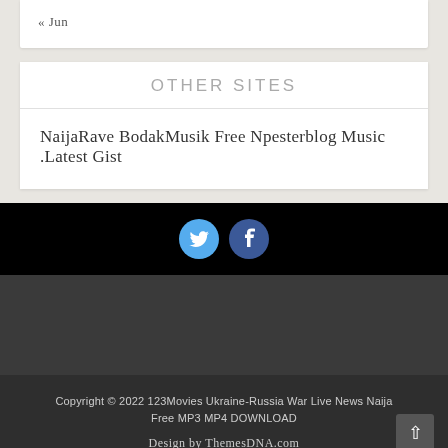« Jun
OTHER SITES
NaijaRave BodakMusik Free Npesterblog Music .Latest Gist
[Figure (infographic): Twitter and Facebook social media icons in blue circles on black background]
Copyright © 2022 123Movies Ukraine-Russia War Live News Naija Free MP3 MP4 DOWNLOAD

Design by ThemesDNA.com